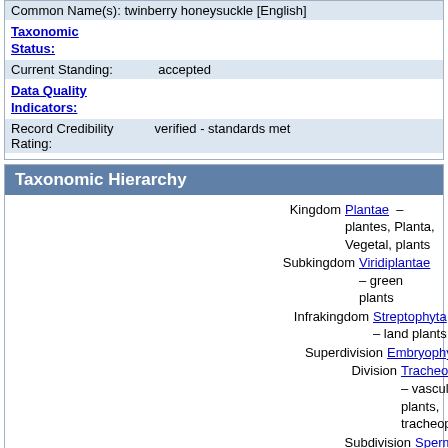Common Name(s): twinberry honeysuckle [English]
Taxonomic Status:
Current Standing: accepted
Data Quality Indicators:
Record Credibility Rating: verified - standards met
Taxonomic Hierarchy
Kingdom   Plantae – plantes, Planta, Vegetal, plants
Subkingdom   Viridiplantae – green plants
Infrakingdom   Streptophyta – land plants
Superdivision   Embryophyta
Division   Tracheophyta – vascular plants, tracheophytes
Subdivision   Spermatophytina – spermatophytes, seed plants, phanérogames
Class   Magnoliopsida
Superorder   Asteranae
Order   Dipsacales
Family   Caprifoliaceae – honeysuckle, chèvrefeuilles
Genus   Lonicera L. – honeysuckle
Species   Lonicera involucrata (Richardson) Banks ex Spreng. – bearberry honeysuckle, twinberry honeysuckle
Variety   Lonicera involucrata var. ledebourii (Eschsch.) Jeps. – twinberry honeysuckle